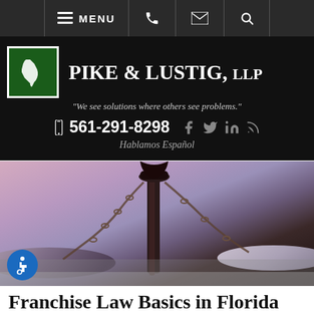MENU [phone] [email] [search]
[Figure (logo): Pike & Lustig LLP law firm logo with Florida state silhouette on green background, firm name and tagline, phone number 561-291-8298, social media icons, and Hablamos Español text]
[Figure (photo): Close-up photo of scales of justice (Lady Justice balance scales) in dark tones with chain visible, artistic macro photography]
Franchise Law Basics in Florida